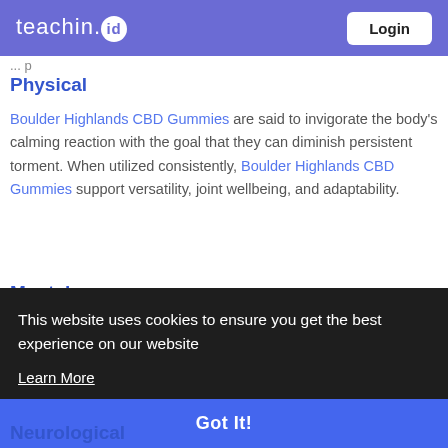teachin.id  Login
Physical
Boulder Highlands CBD Gummies are said to invigorate the body's calming reaction with the goal that they can diminish persistent torment. When utilized consistently, Boulder Highlands CBD Gummies support versatility, joint wellbeing, and adaptability.
Mental
This website uses cookies to ensure you get the best experience on our website
Learn More
Got It!
Neurological